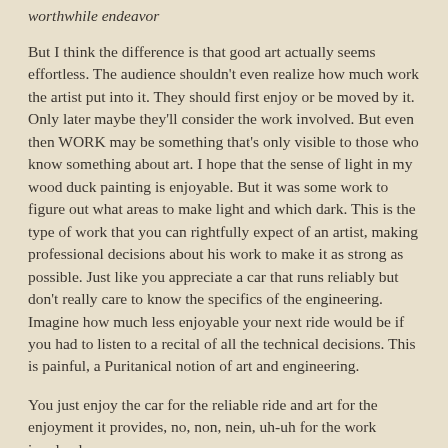worthwhile endeavor
But I think the difference is that good art actually seems effortless. The audience shouldn't even realize how much work the artist put into it. They should first enjoy or be moved by it. Only later maybe they'll consider the work involved. But even then WORK may be something that's only visible to those who know something about art. I hope that the sense of light in my wood duck painting is enjoyable. But it was some work to figure out what areas to make light and which dark. This is the type of work that you can rightfully expect of an artist, making professional decisions about his work to make it as strong as possible. Just like you appreciate a car that runs reliably but don't really care to know the specifics of the engineering. Imagine how much less enjoyable your next ride would be if you had to listen to a recital of all the technical decisions. This is painful, a Puritanical notion of art and engineering.
You just enjoy the car for the reliable ride and art for the enjoyment it provides, no, non, nein, uh-uh for the work involved.